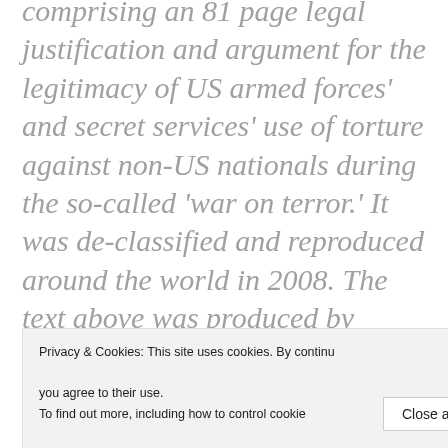comprising an 81 page legal justification and argument for the legitimacy of US armed forces' and secret services' use of torture against non-US nationals during the so-called 'war on terror.' It was de-classified and reproduced around the world in 2008. The text above was produced by redacting around 99% of Yoo's memo to create a series of simple anti-torture statements (in strict order of the appearance of their constituent parts in his original text and without any
Privacy & Cookies: This site uses cookies. By continuing to use this website, you agree to their use. To find out more, including how to control cookies, see here: Cookie Policy
repudiation of his own chilling argument to